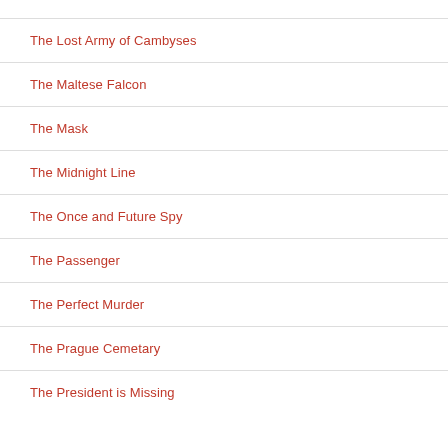The Lost Army of Cambyses
The Maltese Falcon
The Mask
The Midnight Line
The Once and Future Spy
The Passenger
The Perfect Murder
The Prague Cemetary
The President is Missing